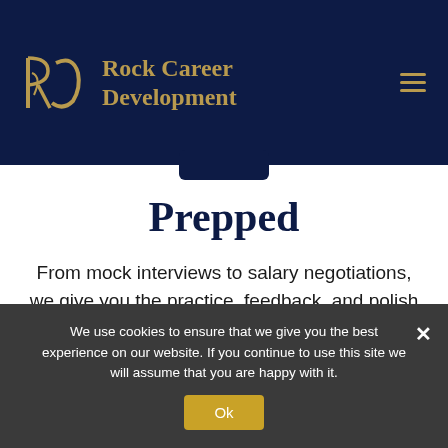[Figure (logo): Rock Career Development logo with RCD monogram in gold on navy background, with hamburger menu icon on the right]
Prepped
From mock interviews to salary negotiations, we give you the practice, feedback, and polish shown you need to stand out and succeed in every aspect of
We use cookies to ensure that we give you the best experience on our website. If you continue to use this site we will assume that you are happy with it.
Ok